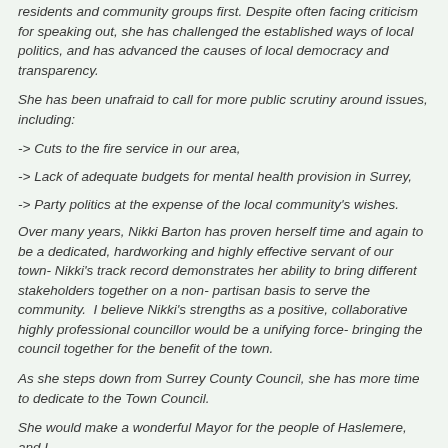residents and community groups first. Despite often facing criticism for speaking out, she has challenged the established ways of local politics, and has advanced the causes of local democracy and transparency.
She has been unafraid to call for more public scrutiny around issues, including:
-> Cuts to the fire service in our area,
-> Lack of adequate budgets for mental health provision in Surrey,
-> Party politics at the expense of the local community's wishes.
Over many years, Nikki Barton has proven herself time and again to be a dedicated, hardworking and highly effective servant of our town- Nikki's track record demonstrates her ability to bring different stakeholders together on a non- partisan basis to serve the community.  I believe Nikki's strengths as a positive, collaborative highly professional councillor would be a unifying force- bringing the council together for the benefit of the town.
As she steps down from Surrey County Council, she has more time to dedicate to the Town Council.
She would make a wonderful Mayor for the people of Haslemere, and I